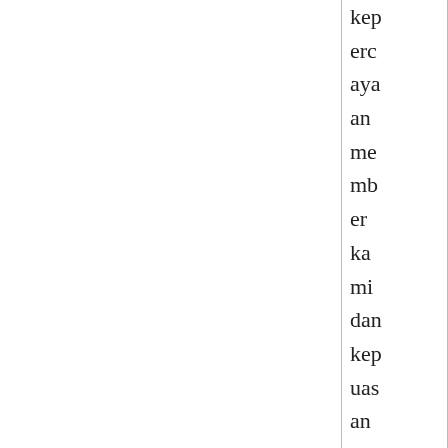kepercayaan memberikan kami dan kepuasan yang sudah dira